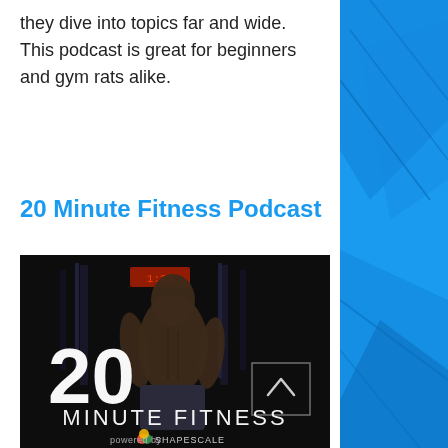they dive into topics far and wide. This podcast is great for beginners and gym rats alike.
20 Minute Fitness Podcast
[Figure (photo): Podcast cover art for '20 Minute Fitness' showing a muscular man in a gym, with large text '20' and 'MINUTE FITNESS' and 'powered by SHAPESCALE' at the bottom, with a small upward arrow icon in the top right corner of the image.]